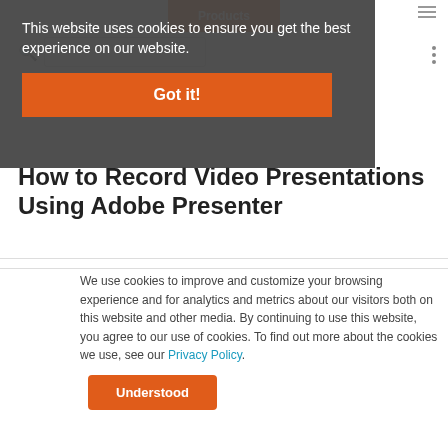This website uses cookies to ensure you get the best experience on our website.
Got it!
How to Record Video Presentations Using Adobe Presenter
We use cookies to improve and customize your browsing experience and for analytics and metrics about our visitors both on this website and other media. By continuing to use this website, you agree to our use of cookies. To find out more about the cookies we use, see our Privacy Policy.
Understood